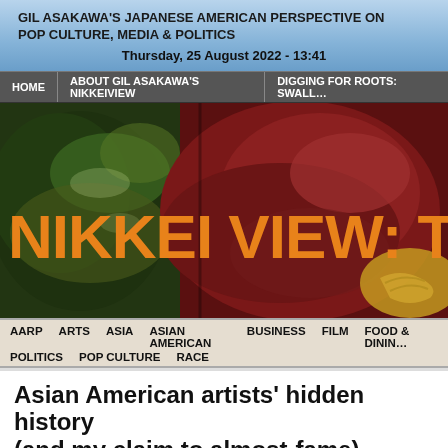GIL ASAKAWA'S JAPANESE AMERICAN PERSPECTIVE ON POP CULTURE, MEDIA & POLITICS
Thursday, 25 August 2022 - 13:41
HOME
ABOUT GIL ASAKAWA'S NIKKEIVIEW
DIGGING FOR ROOTS: SWALL...
[Figure (photo): Hero banner photo showing close-up food images (seaweed/nori on left side, raw meat/tuna in center-right) with large orange text overlay reading 'NIKKEI VIEW: The']
AARP  ARTS  ASIA  ASIAN AMERICAN  BUSINESS  FILM  FOOD & DINING  POLITICS  POP CULTURE  RACE
Asian American artists' hidden history (and my claim to almost-fame)
Gil Asakawa on November 29, 2008